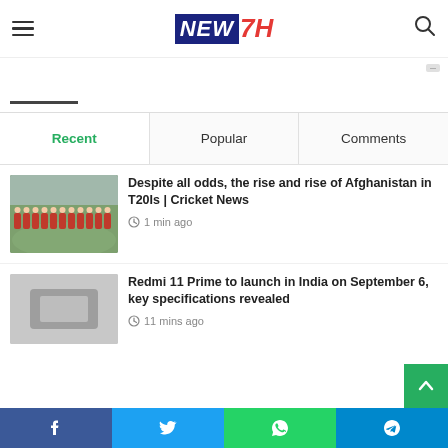NEW7H
[Figure (screenshot): Ad banner area with horizontal line indicator]
Recent | Popular | Comments
[Figure (photo): Afghanistan cricket team players lined up on field in blue jerseys]
Despite all odds, the rise and rise of Afghanistan in T20Is | Cricket News
1 min ago
Redmi 11 Prime to launch in India on September 6, key specifications revealed
11 mins ago
Facebook | Twitter | WhatsApp | Telegram